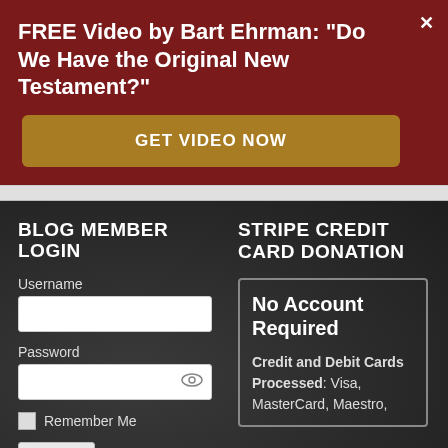FREE Video by Bart Ehrman: "Do We Have the Original New Testament?"
GET VIDEO NOW
BLOG MEMBER LOGIN
Username
Password
Remember Me
Log In
STRIPE CREDIT CARD DONATION
No Account Required
Credit and Debit Cards Processed: Visa, MasterCard, Maestro,